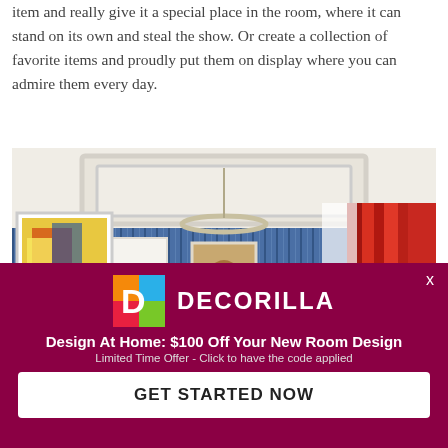item and really give it a special place in the room, where it can stand on its own and steal the show. Or create a collection of favorite items and proudly put them on display where you can admire them every day.
[Figure (photo): Interior dining room with blue striped wallpaper, tray ceiling, circular pendant light, large colorful artwork on left wall, red curtains on right, dark dining table with chairs, and floral centerpiece.]
[Figure (infographic): Decorilla promotional popup banner on dark magenta/maroon background. Shows Decorilla logo (colorful D icon), brand name DECORILLA, headline 'Design At Home: $100 Off Your New Room Design', subtext 'Limited Time Offer - Click to have the code applied', and a white CTA button 'GET STARTED NOW'. Close X in top right corner.]